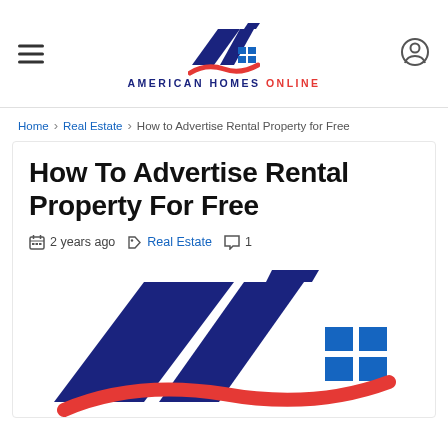AMERICAN HOMES ONLINE
Home > Real Estate > How to Advertise Rental Property for Free
How To Advertise Rental Property For Free
2 years ago  Real Estate  1
[Figure (logo): American Homes Online logo — dark blue parallelogram shapes forming a house/roof graphic with small blue squares for windows, and a red curved swoosh underneath]